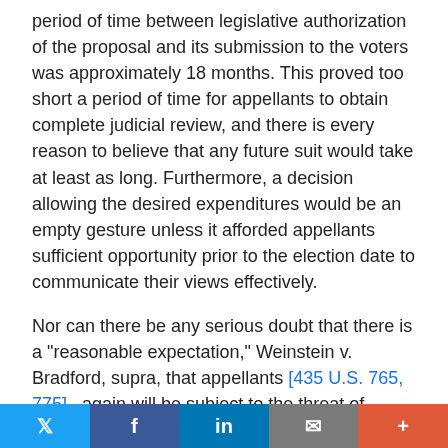period of time between legislative authorization of the proposal and its submission to the voters was approximately 18 months. This proved too short a period of time for appellants to obtain complete judicial review, and there is every reason to believe that any future suit would take at least as long. Furthermore, a decision allowing the desired expenditures would be an empty gesture unless it afforded appellants sufficient opportunity prior to the election date to communicate their views effectively.
Nor can there be any serious doubt that there is a "reasonable expectation," Weinstein v. Bradford, supra, that appellants [435 U.S. 765, 775] again will be subject to the threat of prosecution under 8. The 1976 election marked the fourth time in recent years that a proposed graduated income tax amendment has been submitted to the Massachusetts voters. Appellee's suggestion that the
Twitter | Facebook | LinkedIn | Email | More